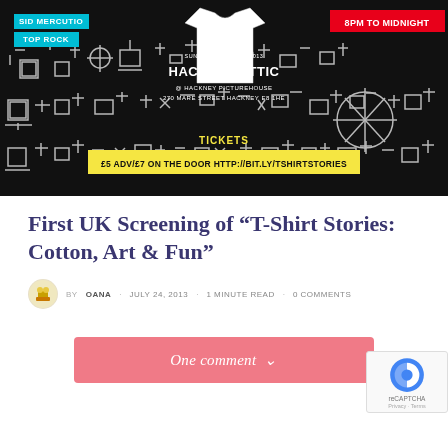[Figure (photo): Event flyer for a T-Shirt Stories screening at Hackney Attic. Black background with white doodle patterns. Cyan badges read 'SID MERCUTIO' and 'TOP ROCK'. Red badge reads '8PM TO MIDNIGHT'. Center shows white t-shirt graphic, text 'HACKNEY ATTIC @ HACKNEY PICTUREHOUSE 270 MARE STREET HACKNEY E8 1HE'. Yellow text 'TICKETS' and yellow banner '£5 ADV/£7 ON THE DOOR HTTP://BIT.LY/TSHIRTSTORIES'.]
First UK Screening of “T-Shirt Stories: Cotton, Art & Fun”
by OANA · JULY 24, 2013 · 1 MINUTE READ · 0 COMMENTS